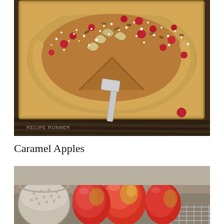[Figure (photo): A rustic galette or flat pastry on a baking sheet, topped with sliced apples, cranberries, chopped nuts, and dusted with powdered sugar. A spatula is lifting a slice. Watermark reads RECIPE RUNNER. Photographed on a dark wood surface.]
Caramel Apples
[Figure (photo): Close-up of red and yellow apples on a kitchen counter with a colander and wire cooling rack partially visible. Warm natural lighting.]